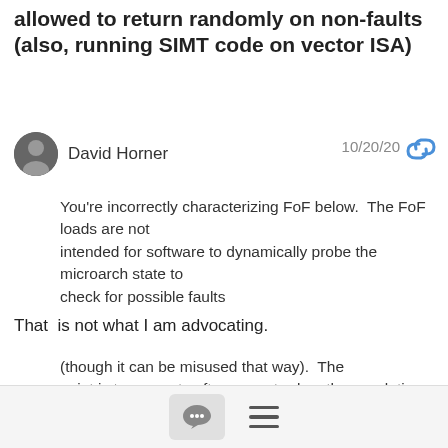... [RISC-V] [tech-isa] Fault on first should be allowed to return randomly on non-faults (also, running SIMT code on vector ISA)
David Horner  10/20/20
You're incorrectly characterizing FoF below.  The FoF loads are not intended for software to dynamically probe the microarch state to check for possible faults
That  is not what I am advocating.
(though it can be misused that way).  The point is to support software vector-length speculation, where whether an access is really needed is not known ahead of time.